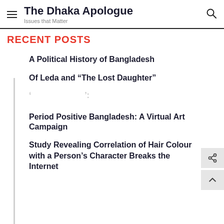The Dhaka Apologue — Issues that Matter
RECENT POSTS
A Political History of Bangladesh
Of Leda and “The Lost Daughter”
‘ ’:
Period Positive Bangladesh: A Virtual Art Campaign
Study Revealing Correlation of Hair Colour with a Person’s Character Breaks the Internet